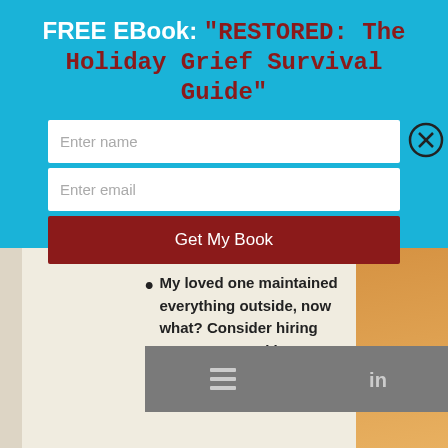FREE EBook: "RESTORED: The Holiday Grief Survival Guide"
[Figure (screenshot): Sign-up form with two input fields (Enter name, Enter email) and a dark red button labeled 'Get My Book', all on a cyan/blue background. A close button (X in circle) is in the top right.]
how to cook one dish.
My loved one maintained everything outside, now what? Consider hiring someone or asking your church or neighbor to help for a time. Once you
[Figure (screenshot): Gray social sharing bar with icons for table-of-contents/blog, LinkedIn, Facebook, and Pinterest]